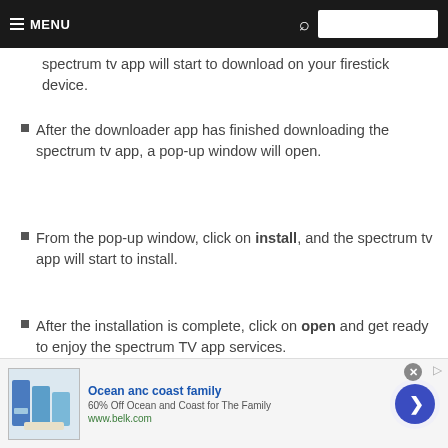MENU
spectrum tv app will start to download on your firestick device.
After the downloader app has finished downloading the spectrum tv app, a pop-up window will open.
From the pop-up window, click on install, and the spectrum tv app will start to install.
After the installation is complete, click on open and get ready to enjoy the spectrum TV app services.
[Figure (infographic): Advertisement banner for Ocean and Coast family products from belk.com with a '>' navigation button]